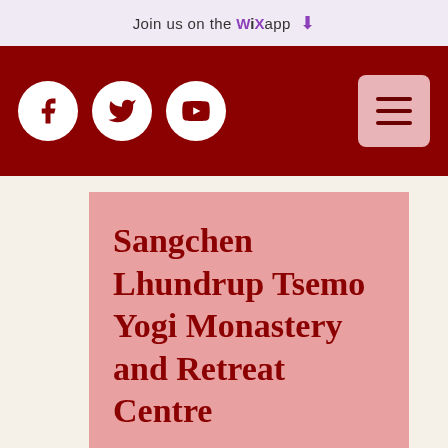Join us on the WiX app ⬇
[Figure (screenshot): Dark red navigation bar with social media icons (Facebook, Twitter, YouTube) and a hamburger menu button on a pink background]
Sangchen Lhundrup Tsemo Yogi Monastery and Retreat Centre